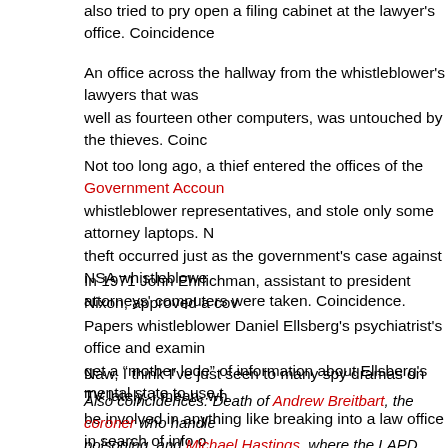also tried to pry open a filing cabinet at the lawyer's office. Coincidence
An office across the hallway from the whistleblower's lawyers that was well as fourteen other computers, was untouched by the thieves. Coinc
Not too long ago, a thief entered the offices of the Government Accoun whistleblower representatives, and stole only some attorney laptops. N theft occurred just as the government's case against NSA whistleblowe attorneys' computers were taken. Coincidence.
In 1971 John Ehrlichman, assistant to president Nixon, approved a cov Papers whistleblower Daniel Ellsberg's psychiatrist's office and examin get a “mother lode” of information about Ellsberg's mental state to use t
Naw, I think I've just seen to many spy dramas on TV lately. I mean, wh be involved in anything like breaking into a law office in search of info o
Also coincidences: Death of Andrew Breitbart, the coroner who handle poisoning, and Michael Hastings, where the LAPD refuses to release th make the crashed Mercedes available for inspection. Nothing to see he